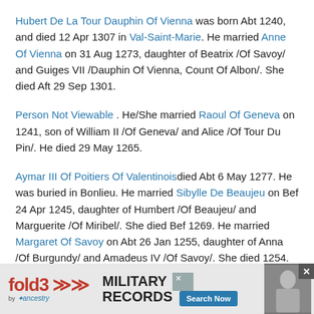Hubert De La Tour Dauphin Of Vienna was born Abt 1240, and died 12 Apr 1307 in Val-Saint-Marie. He married Anne Of Vienna on 31 Aug 1273, daughter of Beatrix /Of Savoy/ and Guiges VII /Dauphin Of Vienna, Count Of Albon/. She died Aft 29 Sep 1301.
Person Not Viewable . He/She married Raoul Of Geneva on 1241, son of William II /Of Geneva/ and Alice /Of Tour Du Pin/. He died 29 May 1265.
Aymar III Of Poitiers Of Valentinoisdied Abt 6 May 1277. He was buried in Bonlieu. He married Sibylle De Beaujeu on Bef 24 Apr 1245, daughter of Humbert /Of Beaujeu/ and Marguerite /Of Miribel/. She died Bef 1269. He married Margaret Of Savoy on Abt 26 Jan 1255, daughter of Anna /Of Burgundy/ and Amadeus IV /Of Savoy/. She died 1254. He married Alixente Of Merco...[daughter of Bea... She
[Figure (screenshot): Advertisement bar at bottom: fold3 Military Records by Ancestry with Search Now button and soldier photo]